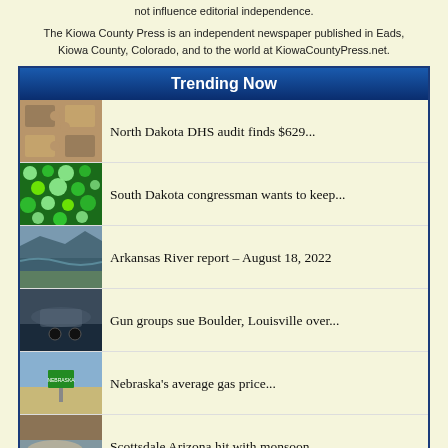not influence editorial independence.
The Kiowa County Press is an independent newspaper published in Eads, Kiowa County, Colorado, and to the world at KiowaCountyPress.net.
Trending Now
North Dakota DHS audit finds $629...
South Dakota congressman wants to keep...
Arkansas River report – August 18, 2022
Gun groups sue Boulder, Louisville over...
Nebraska's average gas price...
Scottsdale Arizona hit with monsoon...